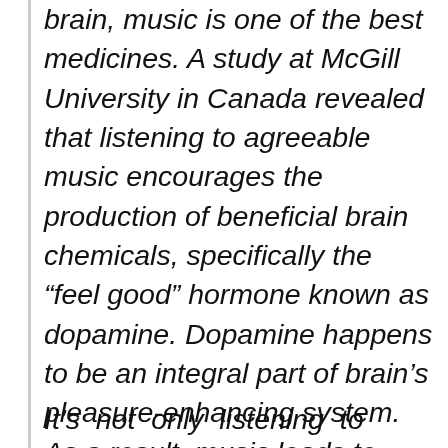brain, music is one of the best medicines. A study at McGill University in Canada revealed that listening to agreeable music encourages the production of beneficial brain chemicals, specifically the “feel good” hormone known as dopamine. Dopamine happens to be an integral part of brain’s pleasure-enhancing system. As a result, music leads to great feeling of joy and bliss.
It’s not only listening to music